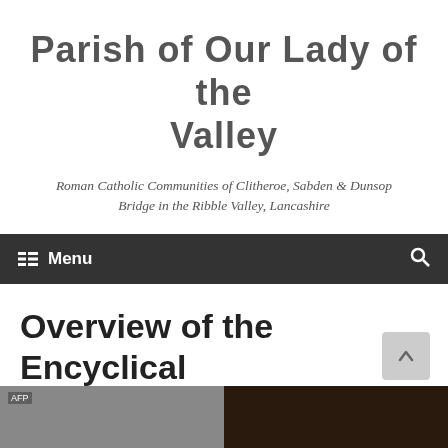Parish of Our Lady of the Valley
Roman Catholic Communities of Clitheroe, Sabden & Dunsop Bridge in the Ribble Valley, Lancashire
Menu
Overview of the Encyclical Laudato si'
[Figure (photo): Two photos side by side at the bottom of the page. Left photo appears dark/grey, with an AFP watermark. Right photo shows a dark background, possibly a person.]